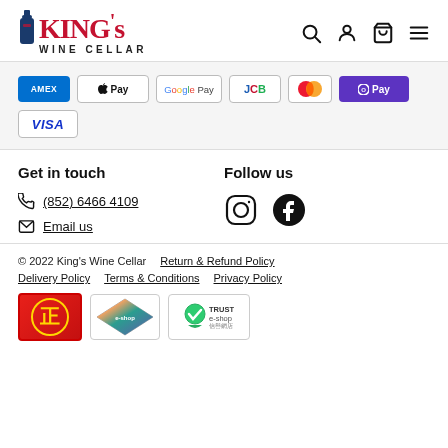[Figure (logo): King's Wine Cellar logo with wine bottle icon]
[Figure (infographic): Navigation icons: search, account, cart, menu]
[Figure (infographic): Payment method badges: American Express, Apple Pay, Google Pay, JCB, Mastercard, Samsung/O Pay, Visa]
Get in touch
Follow us
(852) 6466 4109
Email us
[Figure (infographic): Instagram and Facebook social icons]
© 2022 King's Wine Cellar   Return & Refund Policy   Delivery Policy   Terms & Conditions   Privacy Policy
[Figure (infographic): Three trust badge logos: HK authentic, e-shop award, Trust e-shop]